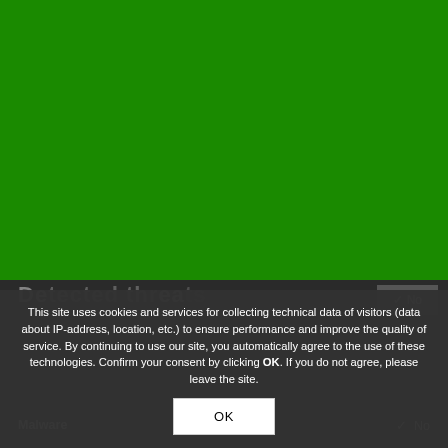[Figure (screenshot): Green background area occupying the top portion of the page, representing a website background]
This site uses cookies and services for collecting technical data of visitors (data about IP-address, location, etc.) to ensure performance and improve the quality of service. By continuing to use our site, you automatically agree to the use of these technologies. Confirm your consent by clicking OK. If you do not agree, please leave the site.
OK
Detected threats
No
Malware
No